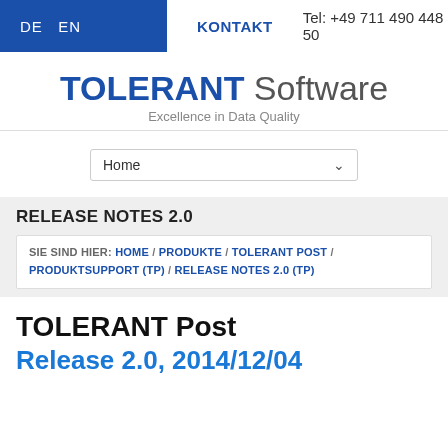DE  EN    KONTAKT    Tel: +49 711 490 448 50
TOLERANT Software — Excellence in Data Quality
Home
RELEASE NOTES 2.0
SIE SIND HIER: HOME / PRODUKTE / TOLERANT POST / PRODUKTSUPPORT (TP) / RELEASE NOTES 2.0 (TP)
TOLERANT Post
Release 2.0, 2014/12/04